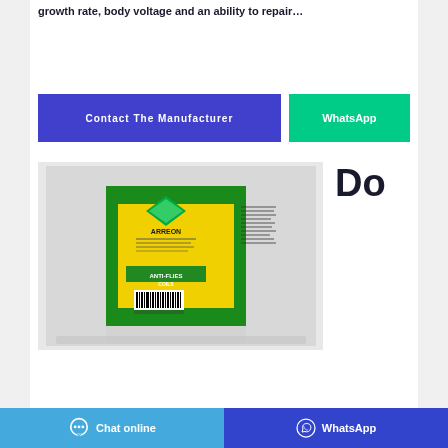growth rate, body voltage and an ability to repair…
Contact The Manufacturer | WhatsApp
[Figure (photo): Product box of anti-flies coils brand Arreon, yellow box with green trim and diamond logo, showing back panel with text, barcode, and product details]
Do
Chat online
WhatsApp